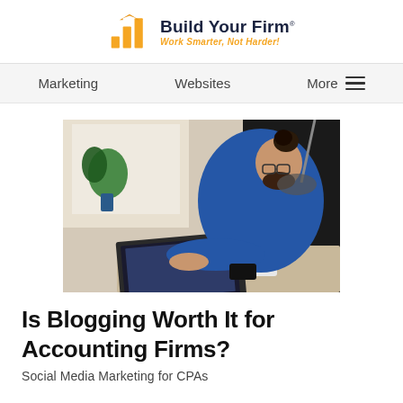[Figure (logo): Build Your Firm logo with bar chart icon and tagline 'Work Smarter, Not Harder!']
Marketing   Websites   More
[Figure (photo): Man with glasses and bun hairstyle wearing a blue sweater leaning over a laptop on a desk, with a coffee cup and plant in background]
Is Blogging Worth It for Accounting Firms?
Social Media Marketing for CPAs